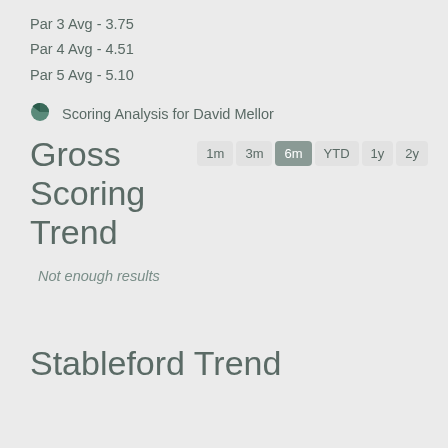Par 3 Avg - 3.75
Par 4 Avg - 4.51
Par 5 Avg - 5.10
Scoring Analysis for David Mellor
Gross Scoring Trend
Not enough results
Stableford Trend